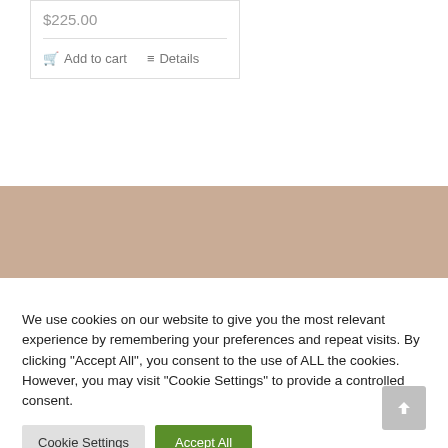$225.00
Add to cart   Details
[Figure (other): Tan/beige colored banner section]
We use cookies on our website to give you the most relevant experience by remembering your preferences and repeat visits. By clicking "Accept All", you consent to the use of ALL the cookies. However, you may visit "Cookie Settings" to provide a controlled consent.
Cookie Settings   Accept All